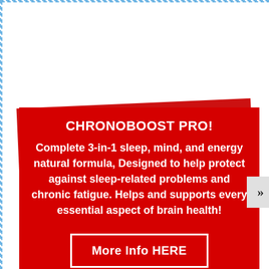CHRONOBOOST PRO!
Complete 3-in-1 sleep, mind, and energy natural formula, Designed to help protect against sleep-related problems and chronic fatigue. Helps and supports every essential aspect of brain health!
More Info HERE